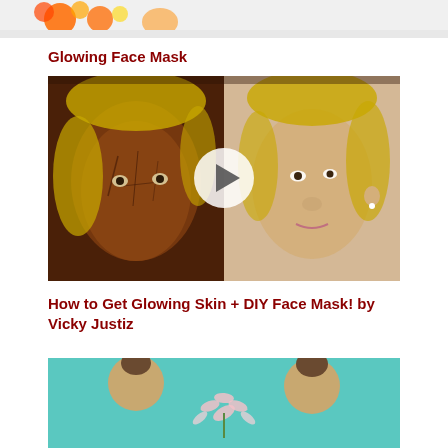[Figure (photo): Partial top image showing flowers/sunflowers on white background]
Glowing Face Mask
[Figure (screenshot): Video thumbnail showing a young woman with brown face mask on left half of face, clean skin on right, with a play button overlay in the center]
How to Get Glowing Skin + DIY Face Mask! by Vicky Justiz
[Figure (photo): Bottom partial image showing two women on a teal background with decorative leaf motifs]